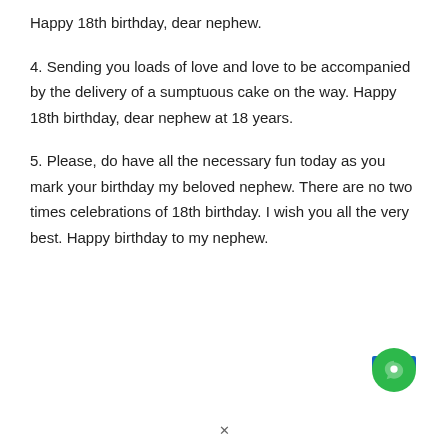Happy 18th birthday, dear nephew.
4. Sending you loads of love and love to be accompanied by the delivery of a sumptuous cake on the way. Happy 18th birthday, dear nephew at 18 years.
5. Please, do have all the necessary fun today as you mark your birthday my beloved nephew. There are no two times celebrations of 18th birthday. I wish you all the very best. Happy birthday to my nephew.
[Figure (other): Blue bar and green circular chat button widget in the bottom right corner]